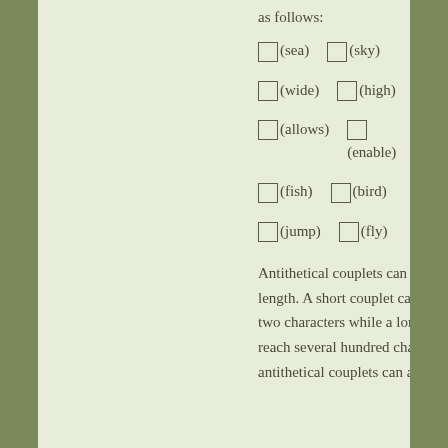as follows:
□(sea)  □(sky)
□(wide)  □(high)
□(allows)  □(enable)
□(fish)  □(bird)
□(jump)  □(fly)
Antithetical couplets can be of different length. A short couplet can include one or two characters while a longer couplet can reach several hundred characters. The antithetical couplets can also